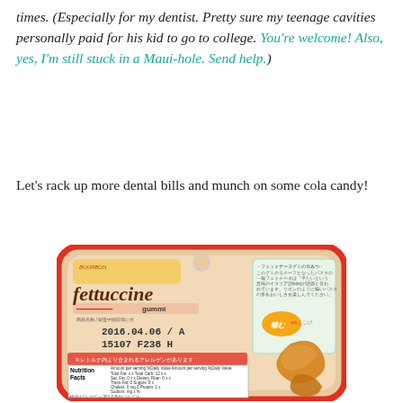times. (Especially for my dentist. Pretty sure my teenage cavities personally paid for his kid to go to college. You're welcome! Also, yes, I'm still stuck in a Maui-hole. Send help.)
Let's rack up more dental bills and munch on some cola candy!
[Figure (photo): Back of a Fettuccine gummi candy package by Bourbon, showing Japanese text, a date stamp '2016.04.06 / A 15107 F238 H', a Nutrition Facts panel, and an image of fettuccine-shaped gummy candy pieces. The package has a red border.]